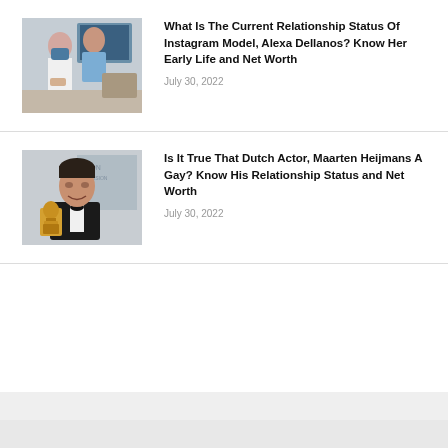[Figure (photo): Photo of two people, one wearing a mask, indoors]
What Is The Current Relationship Status Of Instagram Model, Alexa Dellanos? Know Her Early Life and Net Worth
July 30, 2022
[Figure (photo): Photo of a man in a tuxedo holding an Emmy award at an award show backdrop]
Is It True That Dutch Actor, Maarten Heijmans A Gay? Know His Relationship Status and Net Worth
July 30, 2022